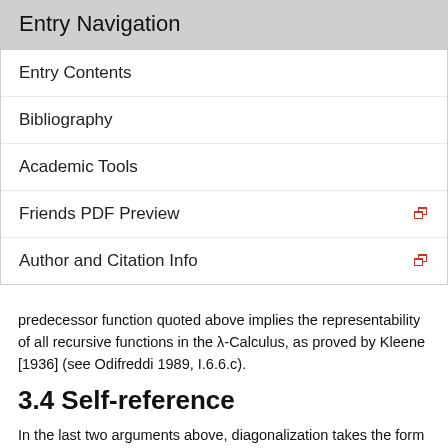Entry Navigation
Entry Contents
Bibliography
Academic Tools
Friends PDF Preview
Author and Citation Info
predecessor function quoted above implies the representability of all recursive functions in the λ-Calculus, as proved by Kleene [1936] (see Odifreddi 1989, I.6.6.c).
3.4 Self-reference
In the last two arguments above, diagonalization takes the form of a self-reference. Indeed, the conditions “x ∈ x” in Russell's paradox can be read as: “x belongs to itself”. Similarly, the condition “xx” in Curry's theorem can be read as: “x applied to itself”.